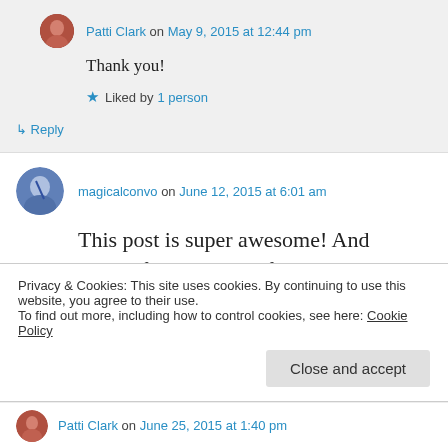Patti Clark on May 9, 2015 at 12:44 pm
Thank you!
Liked by 1 person
↪ Reply
magicalconvo on June 12, 2015 at 6:01 am
This post is super awesome! And thanks for liking and following magicalconvo.
Privacy & Cookies: This site uses cookies. By continuing to use this website, you agree to their use. To find out more, including how to control cookies, see here: Cookie Policy
Close and accept
Patti Clark on June 25, 2015 at 1:40 pm